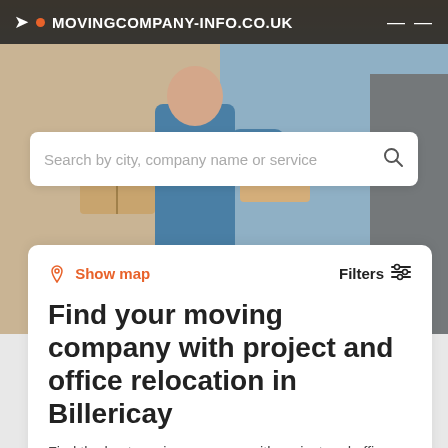MOVINGCOMPANY-INFO.CO.UK
[Figure (screenshot): Hero background image showing a person in blue shirt carrying moving boxes]
Search by city, company name or service
Show map
Filters
Find your moving company with project and office relocation in Billericay
Find the best moving company with project and office relocation in Billericay based on your criteria.
Add your company It's free →